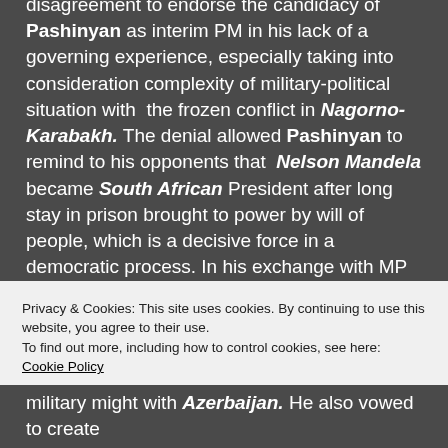disagreement to endorse the candidacy of Pashinyan as interim PM in his lack of a governing experience, especially taking into consideration complexity of military-political situation with the frozen conflict in Nagorno-Karabakh. The denial allowed Pashinyan to remind to his opponents that Nelson Mandela became South African President after long stay in prison brought to power by will of people, which is a decisive force in a democratic process. In his exchange with MP he also presented his views on a broad spectrum of issues, including Nagorno-Karabakh conflict, relations with Russia, Georgia, and denied any personal contacts with Russian opposition politician Alexei Navalny and
Privacy & Cookies: This site uses cookies. By continuing to use this website, you agree to their use.
To find out more, including how to control cookies, see here: Cookie Policy
military might with Azerbaijan. He also vowed to create